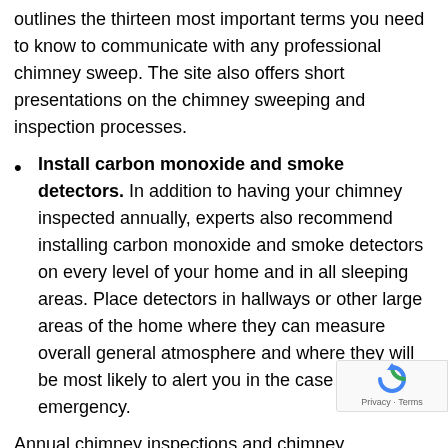outlines the thirteen most important terms you need to know to communicate with any professional chimney sweep. The site also offers short presentations on the chimney sweeping and inspection processes.
Install carbon monoxide and smoke detectors. In addition to having your chimney inspected annually, experts also recommend installing carbon monoxide and smoke detectors on every level of your home and in all sleeping areas. Place detectors in hallways or other large areas of the home where they can measure overall general atmosphere and where they will be most likely to alert you in the case of an emergency.
Annual chimney inspections and chimney maintenance is best left to a qualified chimney professional like a